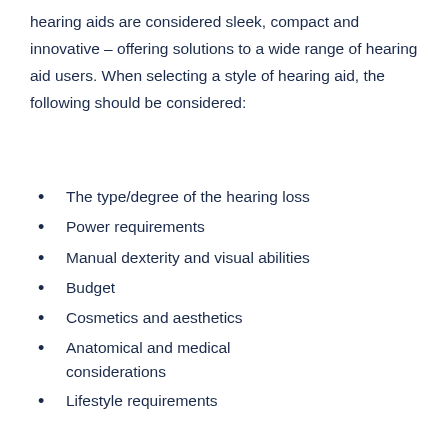hearing aids are considered sleek, compact and innovative – offering solutions to a wide range of hearing aid users. When selecting a style of hearing aid, the following should be considered:
The type/degree of the hearing loss
Power requirements
Manual dexterity and visual abilities
Budget
Cosmetics and aesthetics
Anatomical and medical considerations
Lifestyle requirements